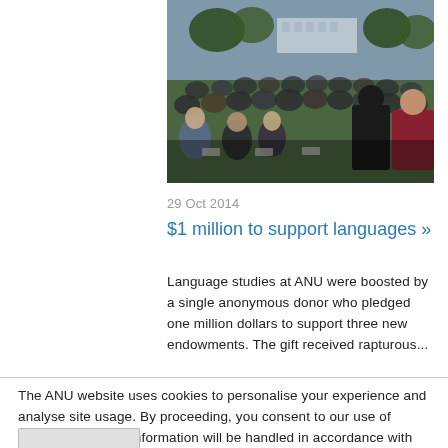[Figure (photo): Outdoor gathering with a large crowd of people seated on chairs on grass, with trees and a building in the background. An evening event at ANU.]
29 Oct 2014
$1 million to support languages »
Language studies at ANU were boosted by a single anonymous donor who pledged one million dollars to support three new endowments. The gift received rapturous...
The ANU website uses cookies to personalise your experience and analyse site usage. By proceeding, you consent to our use of cookies. Personal information will be handled in accordance with the ANU Privacy Policy